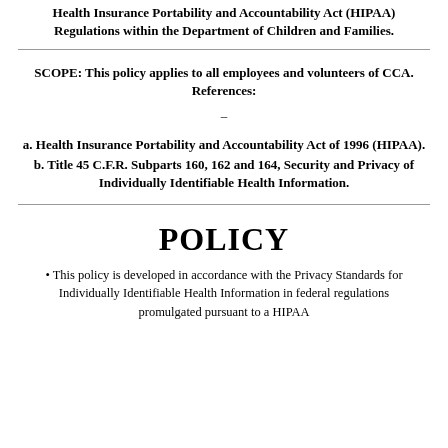Health Insurance Portability and Accountability Act (HIPAA) Regulations within the Department of Children and Families.
SCOPE: This policy applies to all employees and volunteers of CCA. References:
–
a. Health Insurance Portability and Accountability Act of 1996 (HIPAA).
b. Title 45 C.F.R. Subparts 160, 162 and 164, Security and Privacy of Individually Identifiable Health Information.
POLICY
• This policy is developed in accordance with the Privacy Standards for Individually Identifiable Health Information in federal regulations promulgated pursuant to a HIPAA